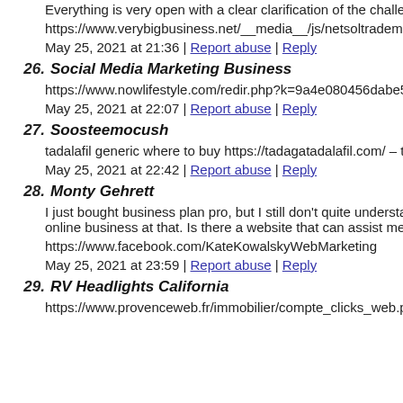Everything is very open with a clear clarification of the challenges…
https://www.verybigbusiness.net/__media__/js/netsoltrademar…
May 25, 2021 at 21:36 | Report abuse | Reply
26. Social Media Marketing Business
https://www.nowlifestyle.com/redir.php?k=9a4e080456dabe5e…
May 25, 2021 at 22:07 | Report abuse | Reply
27. Soosteemocush
tadalafil generic where to buy https://tadagatadalafil.com/ – tad…
May 25, 2021 at 22:42 | Report abuse | Reply
28. Monty Gehrett
I just bought business plan pro, but I still don't quite understand online business at that. Is there a website that can assist me? A…
https://www.facebook.com/KateKowalskyWebMarketing
May 25, 2021 at 23:59 | Report abuse | Reply
29. RV Headlights California
https://www.provenceweb.fr/immobilier/compte_clicks_web.p…